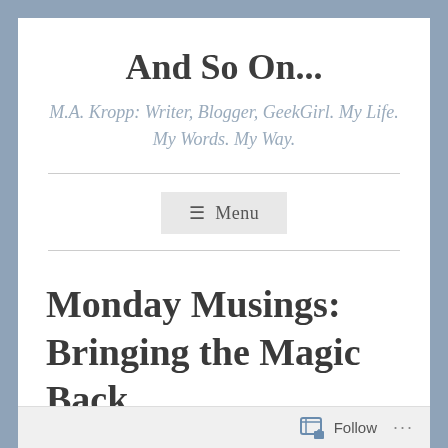And So On...
M.A. Kropp: Writer, Blogger, GeekGirl. My Life. My Words. My Way.
[Figure (screenshot): Menu navigation button with hamburger icon and 'Menu' text on a light gray background]
Monday Musings: Bringing the Magic Back
Follow ...